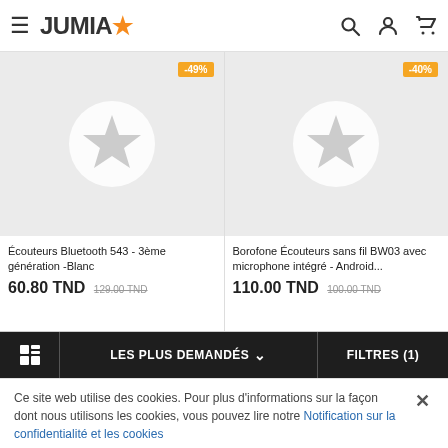JUMIA
[Figure (screenshot): Product card: Écouteurs Bluetooth 543 - 3ème génération -Blanc, -49% discount badge, placeholder image with Jumia star logo, price 60.80 TND, original price 129.00 TND]
[Figure (screenshot): Product card: Borofone Écouteurs sans fil BW03 avec microphone intégré - Android..., -40% discount badge, placeholder image with Jumia star logo, price 110.00 TND, original price 100.00 TND]
LES PLUS DEMANDÉS
FILTRES (1)
Ce site web utilise des cookies. Pour plus d'informations sur la façon dont nous utilisons les cookies, vous pouvez lire notre Notification sur la confidentialité et les cookies